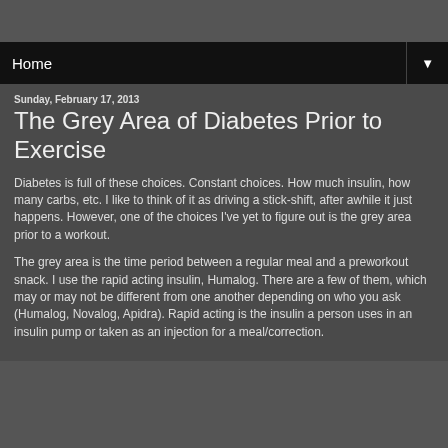Home
Sunday, February 17, 2013
The Grey Area of Diabetes Prior to Exercise
Diabetes is full of these choices. Constant choices. How much insulin, how many carbs, etc. I like to think of it as driving a stick-shift, after awhile it just happens. However, one of the choices I've yet to figure out is the grey area prior to a workout.
The grey area is the time period between a regular meal and a preworkout snack. I use the rapid acting insulin, Humalog. There are a few of them, which may or may not be different from one another depending on who you ask (Humalog, Novalog, Apidra). Rapid acting is the insulin a person uses in an insulin pump or taken as an injection for a meal/correction.